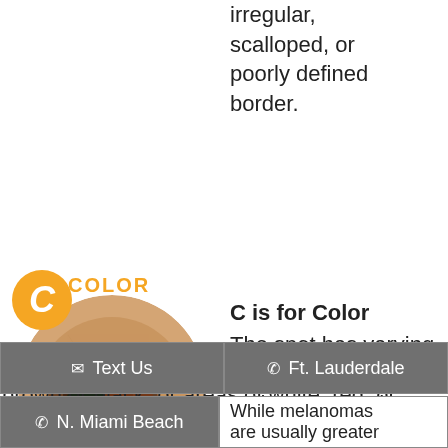irregular, scalloped, or poorly defined border.
[Figure (photo): Circular close-up photo of a melanoma mole on skin with varying colors including brown, black, and dark green/blue patches, with orange circle labeled C and COLOR text above]
C is for Color
The spot has varying colors from one area to the next, such as shades of tan, brown or black, or areas of white, red, or blue.
Text Us
Ft. Lauderdale
N. Miami Beach
While melanomas are usually greater